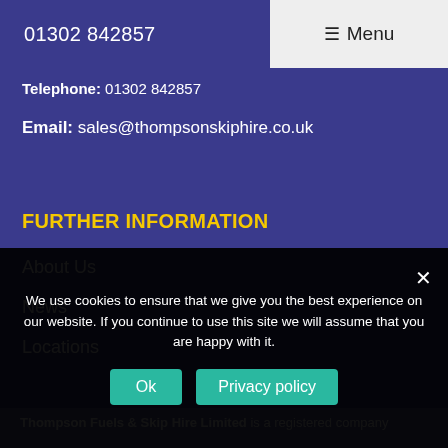01302 842857  ≡ Menu
Telephone: 01302 842857
Email: sales@thompsonskiphire.co.uk
FURTHER INFORMATION
About Us
News
Locations
Thompson Fuels & Skip Hire Limited is a registered company
We use cookies to ensure that we give you the best experience on our website. If you continue to use this site we will assume that you are happy with it.
Ok   Privacy policy